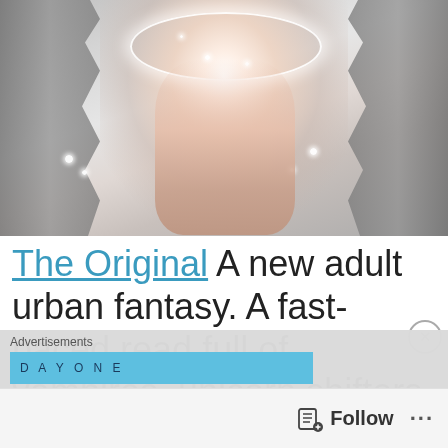[Figure (illustration): Fantasy illustration of two glowing hands reaching toward each other with a bright magical light between them, silver ornamental baroque frame elements on the left and right sides, sparkles and a halo ring effect, gray and peach tones, mystical/magic theme.]
The Original A new adult urban fantasy. A fast-paced read full of vampires, unicorn shifters,
Advertisements
DAY ONE
Follow
...